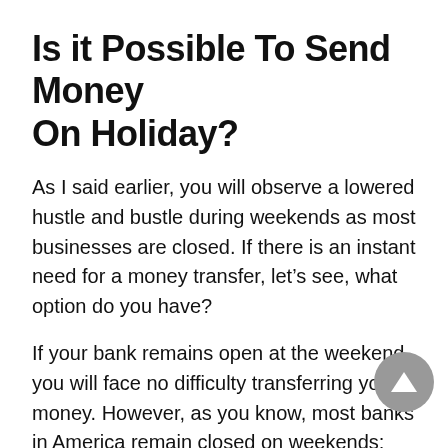Is it Possible To Send Money On Holiday?
As I said earlier, you will observe a lowered hustle and bustle during weekends as most businesses are closed. If there is an instant need for a money transfer, let’s see, what option do you have?
If your bank remains open at the weekend, you will face no difficulty transferring your money. However, as you know, most banks in America remain closed on weekends; the money you send on Friday or weekend will be processed the following working days. However, if the fund transfer is from or to the same bank, it will go through even on the